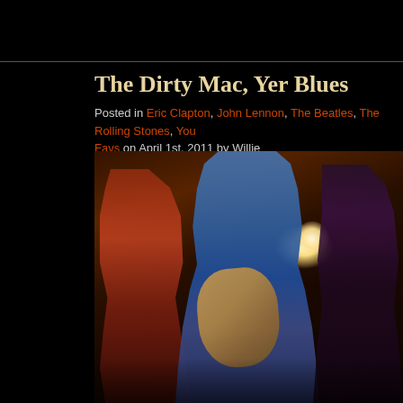The Dirty Mac, Yer Blues
Posted in Eric Clapton, John Lennon, The Beatles, The Rolling Stones, YouTube Favs on April 1st, 2011 by Willie
[Figure (photo): Concert photo showing musicians performing on stage. Center figure is John Lennon playing a semi-hollow guitar in a denim jacket, flanked by other band members. Stage lighting visible in background.]